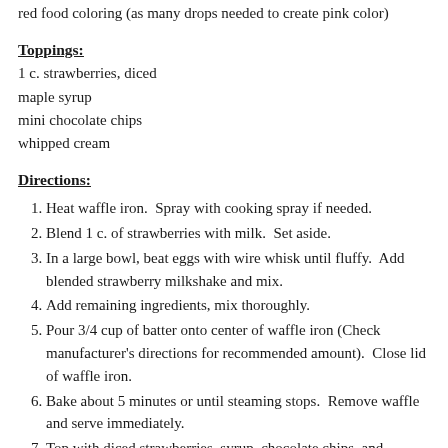red food coloring (as many drops needed to create pink color)
Toppings:
1 c. strawberries, diced
maple syrup
mini chocolate chips
whipped cream
Directions:
Heat waffle iron.  Spray with cooking spray if needed.
Blend 1 c. of strawberries with milk.  Set aside.
In a large bowl, beat eggs with wire whisk until fluffy.  Add blended strawberry milkshake and mix.
Add remaining ingredients, mix thoroughly.
Pour 3/4 cup of batter onto center of waffle iron (Check manufacturer's directions for recommended amount).  Close lid of waffle iron.
Bake about 5 minutes or until steaming stops.  Remove waffle and serve immediately.
Top with diced strawberries, syrup, chocolate chips, and